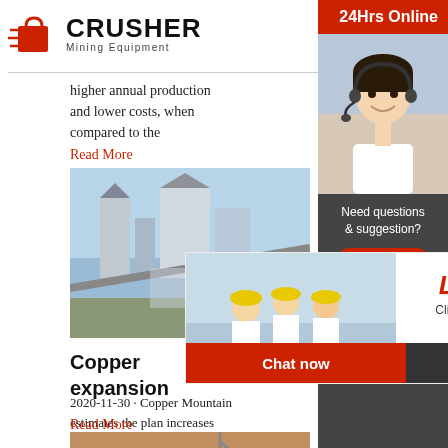[Figure (logo): Crusher Mining Equipment logo with red shopping cart icon and bold CRUSHER text]
higher annual production and lower costs, when compared to the
Read More
[Figure (photo): Industrial mining equipment facility with silos and conveyor systems]
[Figure (photo): Live Chat overlay with workers in yellow hard hats, Chat now and Chat later buttons]
Copper expansion
2020-11-30 · Copper Mountain estimates the plan increases the company's after-tax net present (NPV) by more than 60% to $1 billion due to
Read More
[Figure (photo): Construction site with excavation and heavy machinery]
[Figure (infographic): Right sidebar with 24Hrs Online banner, customer service representative photo, Need questions & suggestion Chat Now button, Enquiry link, and email limingjlmofen@sina.com]